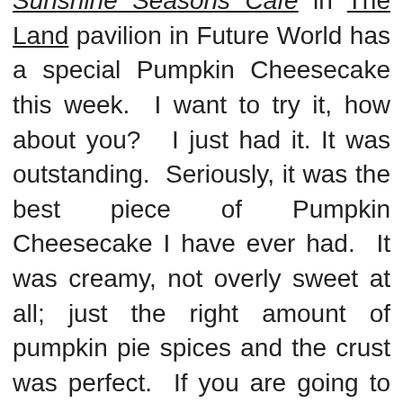Sunshine Seasons Cafe in The Land pavilion in Future World has a special Pumpkin Cheesecake this week. I want to try it, how about you? I just had it. It was outstanding. Seriously, it was the best piece of Pumpkin Cheesecake I have ever had. It was creamy, not overly sweet at all; just the right amount of pumpkin pie spices and the crust was perfect. If you are going to be here at Epcot don't miss this outstanding dessert.

Walking toward entrance I see there is a new MyMagic+ Service Center in innoventions. So if you are having trouble with your MagicBands they will be able to help you here as well as